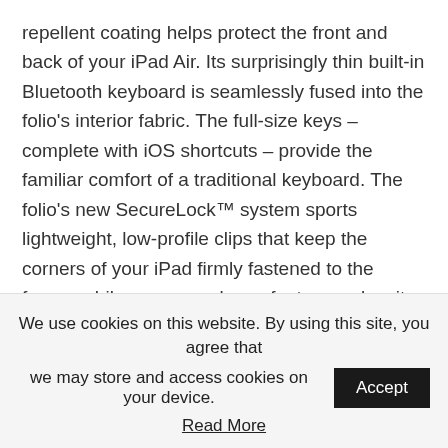repellent coating helps protect the front and back of your iPad Air. Its surprisingly thin built-in Bluetooth keyboard is seamlessly fused into the folio's interior fabric. The full-size keys – complete with iOS shortcuts – provide the familiar comfort of a traditional keyboard. The folio's new SecureLock™ system sports lightweight, low-profile clips that keep the corners of your iPad firmly fastened to the frame, while an easy-release feature makes it easy to insert and remove your iPad. Hidden magnets hold your iPad in two convenient positions for typing or entertainment mode. The keyboard is rechargeable through micro-USB and can last up to three months on a complete charge. The Logitech FabricSkin Keyboard
We use cookies on this website. By using this site, you agree that we may store and access cookies on your device.
Read More